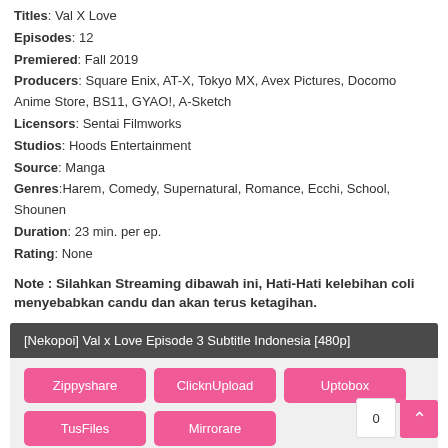Titles: Val X Love
Episodes: 12
Premiered: Fall 2019
Producers: Square Enix, AT-X, Tokyo MX, Avex Pictures, Docomo Anime Store, BS11, GYAO!, A-Sketch
Licensors: Sentai Filmworks
Studios: Hoods Entertainment
Source: Manga
Genres: Harem, Comedy, Supernatural, Romance, Ecchi, School, Shounen
Duration: 23 min. per ep.
Rating: None
Note : Silahkan Streaming dibawah ini, Hati-Hati kelebihan coli menyebabkan candu dan akan terus ketagihan.
[Nekopoi] Val x Love Episode 3 Subtitle Indonesia [480p]
Zippyshare
ClicknUpload
Uptobox
TusFiles
Mirrorare
[Nekopoi] Val x Love Episode 3 Subtitle Indonesia [720p]
Zippyshare
ClicknUpload
Uptobox
TusFiles
Mirrorare